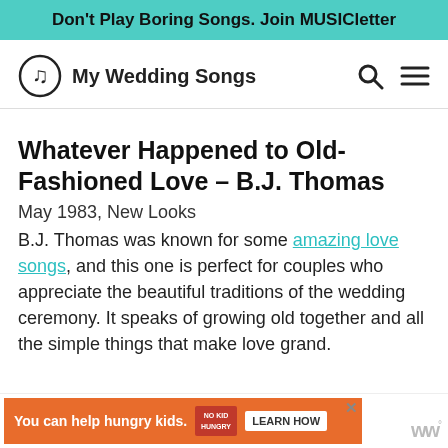Don't Play Boring Songs. Join MUSICletter
[Figure (logo): My Wedding Songs logo with musical note in circle and site name]
Whatever Happened to Old-Fashioned Love – B.J. Thomas
May 1983, New Looks
B.J. Thomas was known for some amazing love songs, and this one is perfect for couples who appreciate the beautiful traditions of the wedding ceremony. It speaks of growing old together and all the simple things that make love grand.
[Figure (infographic): Advertisement banner: You can help hungry kids. No Kid Hungry. Learn How.]